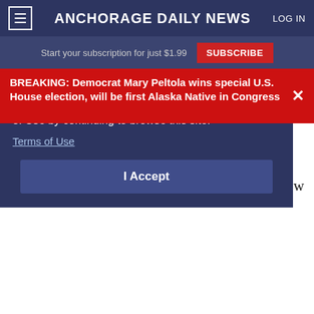≡  ANCHORAGE DAILY NEWS  LOG IN
Start your subscription for just $1.99  SUBSCRIBE
BREAKING: Democrat Mary Peltola wins special U.S. House election, will be first Alaska Native in Congress
Chief among them were whether the sale would lead to increased efficiency, whether the price reflected ML&P's actual value and whether
You are agreeing to the Anchorage Daily News Terms of Use by continuing to browse this site.
Terms of Use
I Accept